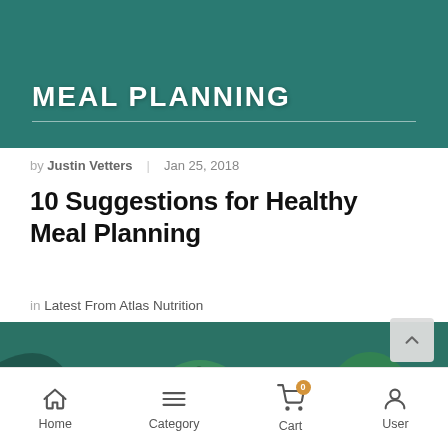[Figure (photo): Dark teal/green banner with 'MEAL PLANNING' text and decorative horizontal rule, appears to be a website header image with food in background]
by Justin Vetters | Jan 25, 2018
10 Suggestions for Healthy Meal Planning
in Latest From Atlas Nutrition
[Figure (photo): Photo of colorful vegetables including green and red bell peppers, tomatoes, and other ingredients with teal overlay. Text overlay shows '10 SUGGESTIONS']
Home  Category  Cart  User